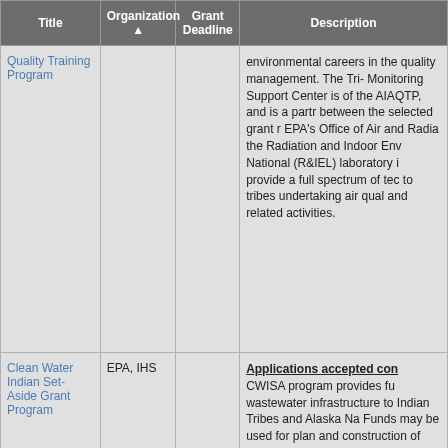| Title | Organization ▲ | Grant Deadline | Description |
| --- | --- | --- | --- |
| Quality Training Program |  |  | environmental careers in the quality management. The Tri- Monitoring Support Center is of the AIAQTP, and is a partr between the selected grant r EPA's Office of Air and Radia the Radiation and Indoor Env National (R&IEL) laboratory i provide a full spectrum of tec to tribes undertaking air qual and related activities. |
| Clean Water Indian Set-Aside Grant Program | EPA, IHS |  | Applications accepted con CWISA program provides fu wastewater infrastructure to Indian Tribes and Alaska Na Funds may be used for plan and construction of wastewa and treatment systems. The program is administered by t Environmental Protection Ag cooperation with the Indian H |